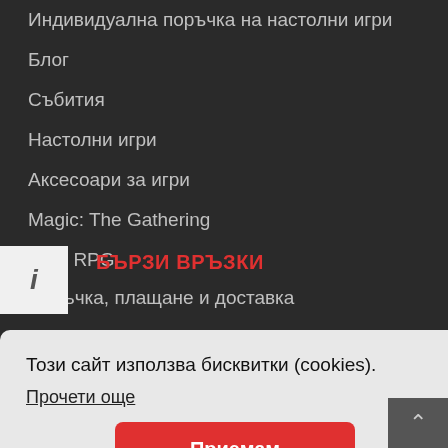Индивидуална поръчка на настолни игри
Блог
Събития
Настолни игри
Аксесоари за игри
Magic: The Gathering
D&D RPG
БЪРЗИ ВРЪЗКИ
Поръчка, плащане и доставка
Защита на личните данни
Рекламации
Този сайт използва бисквитки (cookies).
Прочети още
Приемам
Понеделник - Събота: 12:00 - 19:00